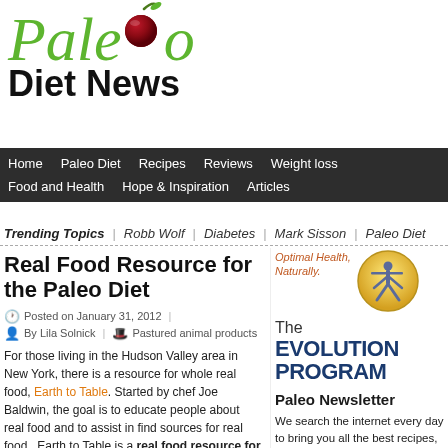[Figure (logo): Paleo Diet News logo with green italic 'Paleo' text, a red cherry graphic, and bold 'Diet News' text below]
Home | Paleo Diet | Recipes | Reviews | Weight loss | Food and Health | Hope & Inspiration | Articles
Trending Topics | Robb Wolf | Diabetes | Mark Sisson | Paleo Diet
Real Food Resource for the Paleo Diet
Posted on January 31, 2012
By Lila Solnick | Pastured animal products
For those living in the Hudson Valley area in New York, there is a resource for whole real food, Earth to Table. Started by chef Joe Baldwin, the goal is to educate people about real food and to assist in find sources for real food.  Earth to Table is a real food resource for the Paleo diet. Chef Baldwin's project was featured in the
[Figure (logo): The Evolution Program advertisement — circular human figure icon with 'Optimal Health, Naturally.' text and 'The EVOLUTION PROGRAM' logo text]
Paleo Newsletter
We search the internet every day to bring you all the best recipes, news, articles and